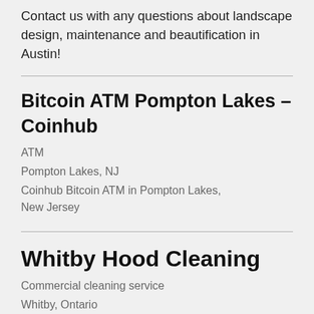Contact us with any questions about landscape design, maintenance and beautification in Austin!
Bitcoin ATM Pompton Lakes – Coinhub
ATM
Pompton Lakes, NJ
Coinhub Bitcoin ATM in Pompton Lakes, New Jersey
Whitby Hood Cleaning
Commercial cleaning service
Whitby, Ontario